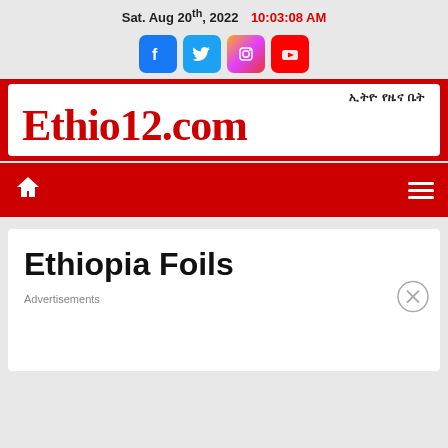Sat. Aug 20th, 2022  10:03:08 AM
[Figure (logo): Social media icons: Facebook, Twitter, Instagram, YouTube]
[Figure (logo): Ethio12.com logo with Amharic text ኢትዮ የዜና ቤት]
[Figure (infographic): Navigation bar with home icon and hamburger menu on red background]
Ethiopia Foils
Advertisements